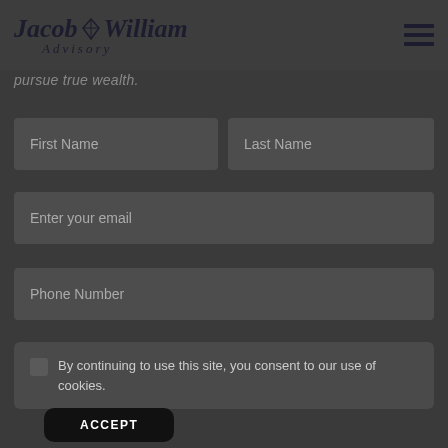Jacob William Advisory
pursue true wealth.
First Name
Last Name
Enter your email
Phone Number
By continuing to use this site, you consent to our use of cookies.
ACCEPT